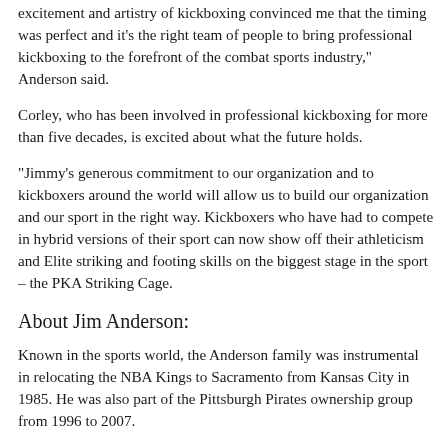excitement and artistry of kickboxing convinced me that the timing was perfect and it’s the right team of people to bring professional kickboxing to the forefront of the combat sports industry,” Anderson said.
Corley, who has been involved in professional kickboxing for more than five decades, is excited about what the future holds.
“Jimmy’s generous commitment to our organization and to kickboxers around the world will allow us to build our organization and our sport in the right way. Kickboxers who have had to compete in hybrid versions of their sport can now show off their athleticism and Elite striking and footing skills on the biggest stage in the sport – the PKA Striking Cage.
About Jim Anderson:
Known in the sports world, the Anderson family was instrumental in relocating the NBA Kings to Sacramento from Kansas City in 1985. He was also part of the Pittsburgh Pirates ownership group from 1996 to 2007.
Owner and manager of WHAL, GP, LLC, the general partner of WHAL Properties, LP, Anderson is also an active and longtime board member of Pacific Coast Building Products, Inc., founded by